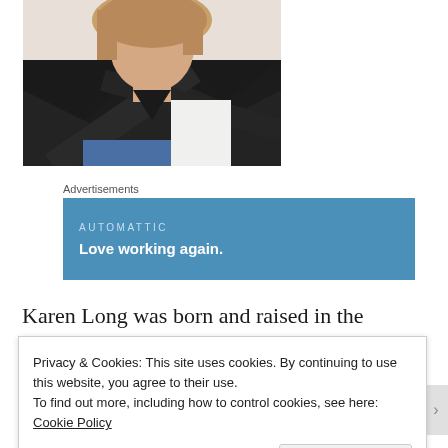[Figure (photo): Woman wearing a black sweater with crossed arms, blonde hair, against a light background with jeans visible]
Advertisements
[Figure (other): Automattic advertisement banner with blue background. Text: AUTOMATTIC. Love working again.]
Karen Long was born and raised in the English
Privacy & Cookies: This site uses cookies. By continuing to use this website, you agree to their use.
To find out more, including how to control cookies, see here:
Cookie Policy
Close and accept